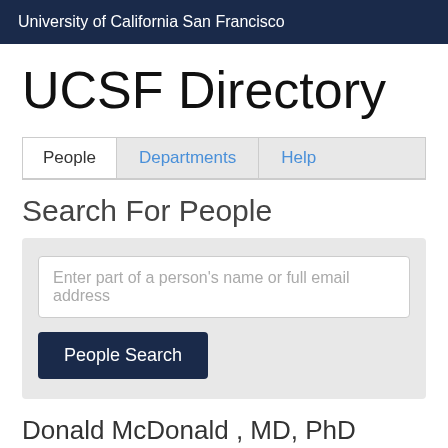University of California San Francisco
UCSF Directory
People  Departments  Help
Search For People
Enter part of a person's name or full email address
People Search
Donald McDonald , MD, PhD